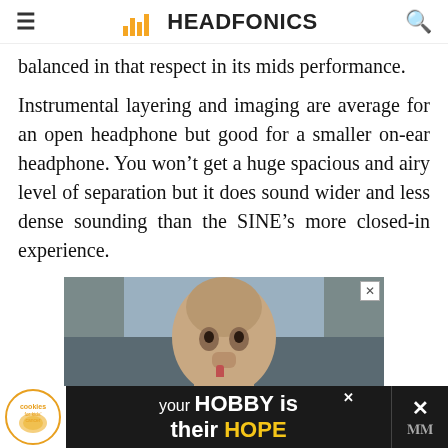HEADFONICS
balanced in that respect in its mids performance.
Instrumental layering and imaging are average for an open headphone but good for a smaller on-ear headphone. You won't get a huge spacious and airy level of separation but it does sound wider and less dense sounding than the SINE's more closed-in experience.
[Figure (photo): Young boy eating or snacking, advertisement photo]
[Figure (infographic): Bottom banner ad: cookies for kids' cancer — your HOBBY is their HOPE]